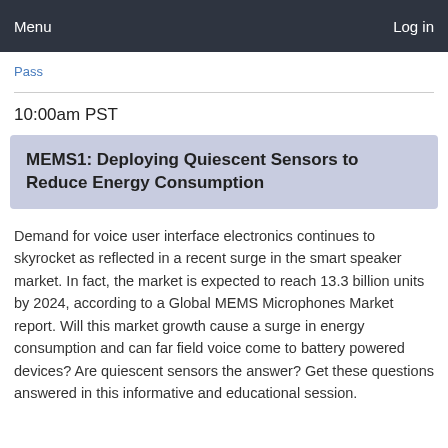Menu  Log in
Pass
10:00am PST
MEMS1: Deploying Quiescent Sensors to Reduce Energy Consumption
Demand for voice user interface electronics continues to skyrocket as reflected in a recent surge in the smart speaker market. In fact, the market is expected to reach 13.3 billion units by 2024, according to a Global MEMS Microphones Market report. Will this market growth cause a surge in energy consumption and can far field voice come to battery powered devices? Are quiescent sensors the answer? Get these questions answered in this informative and educational session.